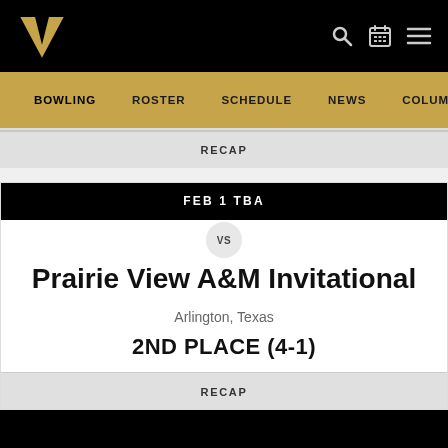Vanderbilt Athletics – Bowling page header with navigation: BOWLING, ROSTER, SCHEDULE, NEWS, COLUMBIA S…
RECAP
FEB 1 TBA
VS
Prairie View A&M Invitational
Arlington, Texas
2ND PLACE (4-1)
RECAP